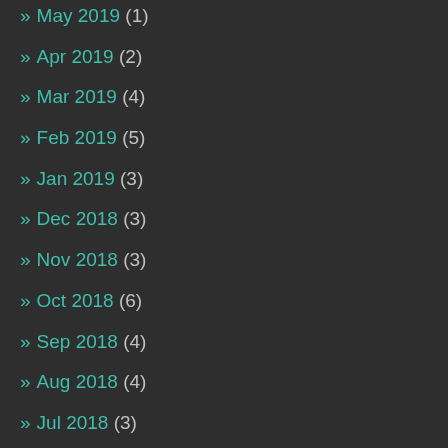» May 2019 (1)
» Apr 2019 (2)
» Mar 2019 (4)
» Feb 2019 (5)
» Jan 2019 (3)
» Dec 2018 (3)
» Nov 2018 (3)
» Oct 2018 (6)
» Sep 2018 (4)
» Aug 2018 (4)
» Jul 2018 (3)
» Jun 2018 (2)
» May 2018 (2)
» Apr 2018 (2)
» Mar 2018 (5)